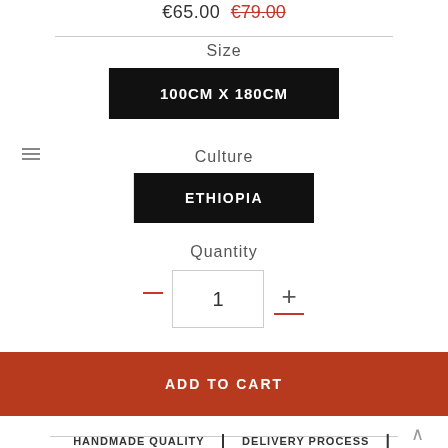€65.00  €79.00
Size
100CM X 180CM
Culture
ETHIOPIA
Quantity
1
ADD TO CART
HANDMADE QUALITY | DELIVERY PROCESS